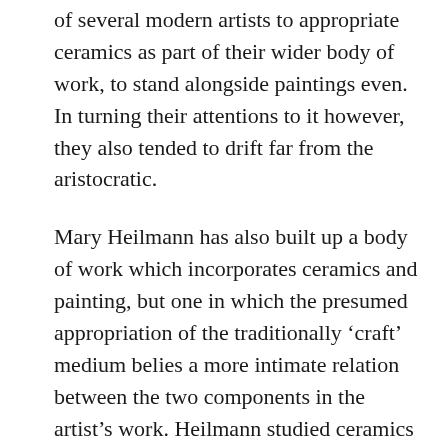of several modern artists to appropriate ceramics as part of their wider body of work, to stand alongside paintings even. In turning their attentions to it however, they also tended to drift far from the aristocratic.
Mary Heilmann has also built up a body of work which incorporates ceramics and painting, but one in which the presumed appropriation of the traditionally ‘craft’ medium belies a more intimate relation between the two components in the artist’s work. Heilmann studied ceramics and sculpture at the University of California at Berkeley from 1963 to 1967, before moving to New York in 1968, where she took up painting. It is easy to see ceramics as an adjunct to the